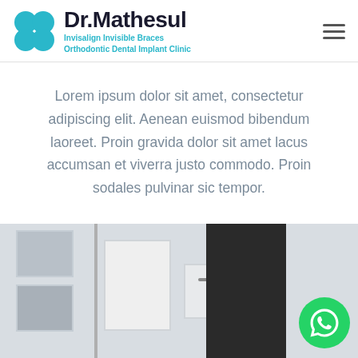[Figure (logo): Dr.Mathesul logo with four blue circles arranged in a flower pattern, alongside bold text 'Dr.Mathesul' and subtitle 'Invisalign Invisible Braces Orthodontic Dental Implant Clinic' in teal/cyan color]
Lorem ipsum dolor sit amet, consectetur adipiscing elit. Aenean euismod bibendum laoreet. Proin gravida dolor sit amet lacus accumsan et viverra justo commodo. Proin sodales pulvinar sic tempor.
[Figure (photo): Interior of a dental clinic showing white walls with framed artwork, white cabinetry, and a dark screen/monitor on the right side. A WhatsApp button icon is overlaid in the bottom right corner.]